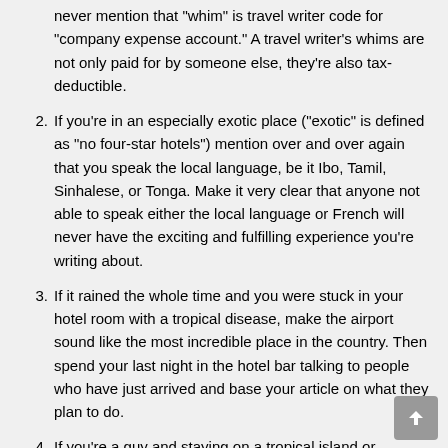never mention that "whim" is travel writer code for "company expense account." A travel writer's whims are not only paid for by someone else, they're also tax-deductible.
2. If you're in an especially exotic place ("exotic" is defined as "no four-star hotels") mention over and over again that you speak the local language, be it Ibo, Tamil, Sinhalese, or Tonga. Make it very clear that anyone not able to speak either the local language or French will never have the exciting and fulfilling experience you're writing about.
3. If it rained the whole time and you were stuck in your hotel room with a tropical disease, make the airport sound like the most incredible place in the country. Then spend your last night in the hotel bar talking to people who have just arrived and base your article on what they plan to do.
4. If you're a guy and staying on a tropical island or peninsula, make sure you spend at least one night drinking with a tourist from another country. For example, if you're from the United States and